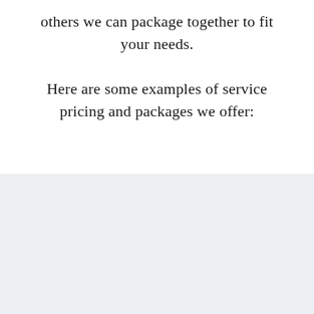others we can package together to fit your needs.
Here are some examples of service pricing and packages we offer: